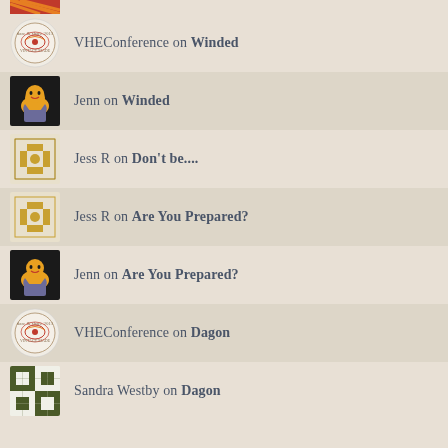VHEConference on Winded
Jenn on Winded
Jess R on Don't be....
Jess R on Are You Prepared?
Jenn on Are You Prepared?
VHEConference on Dagon
Sandra Westby on Dagon